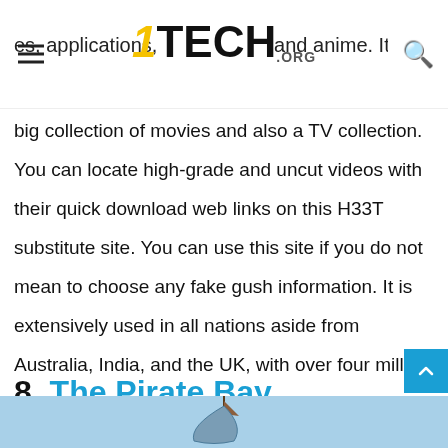1TECH.ORG
es, applications, and anime. It has a big collection of movies and also a TV collection. You can locate high-grade and uncut videos with their quick download web links on this H33T substitute site. You can use this site if you do not mean to choose any fake gush information. It is extensively used in all nations aside from Australia, India, and the UK, with over four million spurts.
8. The Pirate Bay